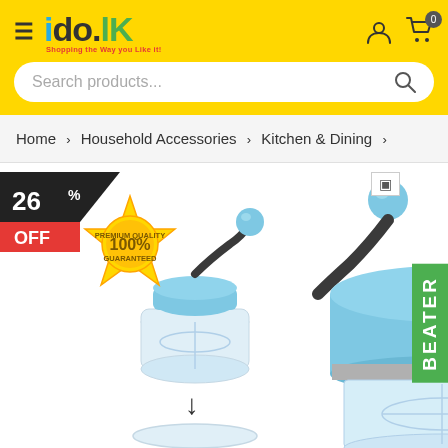ido.lk - Shopping the Way you Like it!
Search products...
Home > Household Accessories > Kitchen & Dining >
[Figure (photo): Manual food chopper/egg beater product with blue and dark grey body, shown in two views. A 26% OFF discount badge and Premium Quality 100% Guaranteed seal are visible. A green vertical label reads 'BEATER' on the right side.]